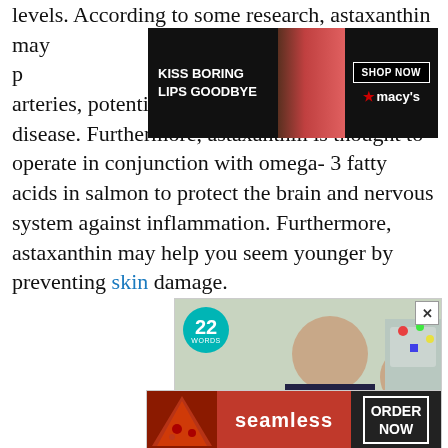levels. According to some research, astaxanthin may help reduce oxidative stress and protect against the formation of fatty plaque in the arteries, potentially lowering the risk of heart disease. Furthermore, astaxanthin is thought to operate in conjunction with omega-3 fatty acids in salmon to protect the brain and nervous system against inflammation. Furthermore, astaxanthin may help you seem younger by preventing skin damage.
[Figure (photo): Macy's advertisement banner: 'KISS BORING LIPS GOODBYE' with woman's face and red lips, SHOP NOW button and Macy's star logo]
[Figure (photo): 22 Words advertisement showing mother and daughter cooking in kitchen, with CLOSE button overlay]
[Figure (photo): Seamless food delivery advertisement with pizza image, seamless logo, and ORDER NOW button]